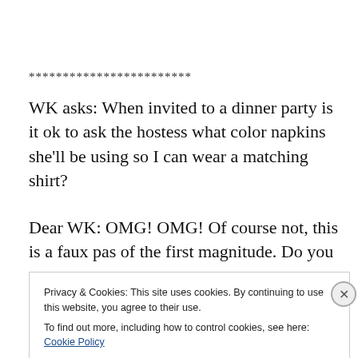************************
WK asks: When invited to a dinner party is it ok to ask the hostess what color napkins she'll be using so I can wear a matching shirt?
Dear WK: OMG! OMG! Of course not, this is a faux pas of the first magnitude. Do you want to
Privacy & Cookies: This site uses cookies. By continuing to use this website, you agree to their use.
To find out more, including how to control cookies, see here: Cookie Policy
Close and accept